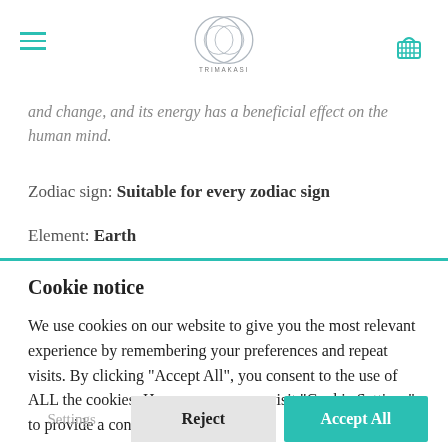TRIMAKASI
and change, and its energy has a beneficial effect on the human mind.
Zodiac sign: Suitable for every zodiac sign
Element: Earth
Cookie notice
We use cookies on our website to give you the most relevant experience by remembering your preferences and repeat visits. By clicking "Accept All", you consent to the use of ALL the cookies. However, you may visit "Cookie Settings" to provide a controlled consent.